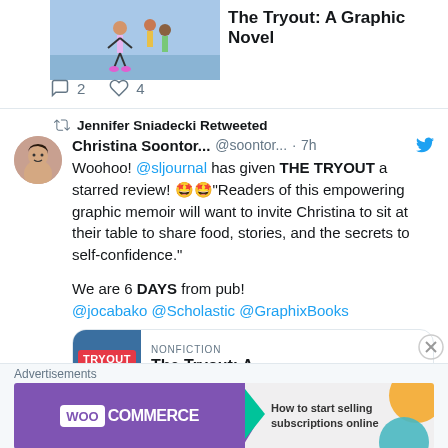[Figure (screenshot): Top portion of a tweet card showing book cover image for 'The Tryout: A Graphic Novel' and interaction bar with 2 comments and 4 likes]
Jennifer Sniadecki Retweeted
Christina Soontor... @soontor... · 7h
Woohoo! @sljournal has given THE TRYOUT a starred review! 🤩🤩"Readers of this empowering graphic memoir will want to invite Christina to sit at their table to share food, stories, and the secrets to self-confidence."

We are 6 DAYS from pub!
@jocabako @Scholastic @GraphixBooks
[Figure (screenshot): Tweet card preview showing NONFICTION label and 'The Tryout: A' title with TRYOUT book cover thumbnail]
Advertisements
[Figure (screenshot): WooCommerce advertisement banner: How to start selling subscriptions online]